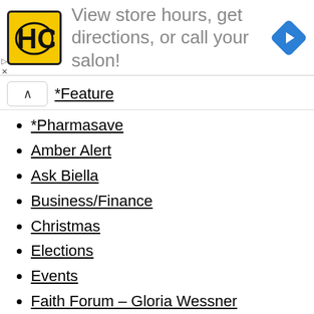[Figure (infographic): Advertisement banner with HC logo (yellow square with black H and C letters), text 'View store hours, get directions, or call your salon!' in gray, and a blue diamond navigation arrow icon on the right.]
*Feature
*Pharmasave
Amber Alert
Ask Biella
Business/Finance
Christmas
Elections
Events
Faith Forum – Gloria Wessner
From My Bookshelf – Lynn Willoughby
From The Teacher's Desk
General